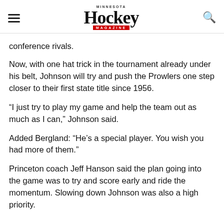MINNESOTA Hockey MAGAZINE
conference rivals.
Now, with one hat trick in the tournament already under his belt, Johnson will try and push the Prowlers one step closer to their first state title since 1956.
“I just try to play my game and help the team out as much as I can,” Johnson said.
Added Bergland: “He’s a special player. You wish you had more of them.”
Princeton coach Jeff Hanson said the plan going into the game was to try and score early and ride the momentum. Slowing down Johnson was also a high priority.